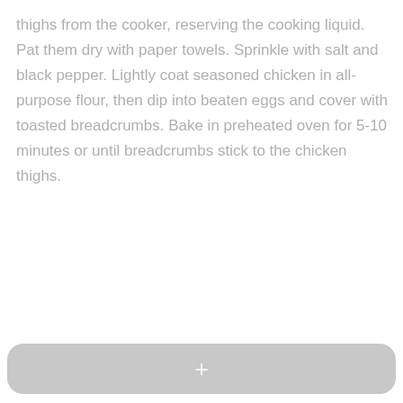thighs from the cooker, reserving the cooking liquid. Pat them dry with paper towels. Sprinkle with salt and black pepper. Lightly coat seasoned chicken in all-purpose flour, then dip into beaten eggs and cover with toasted breadcrumbs. Bake in preheated oven for 5-10 minutes or until breadcrumbs stick to the chicken thighs.
[Figure (other): A grey rounded rectangle button with a white plus (+) symbol centered inside, located at the bottom of the page.]